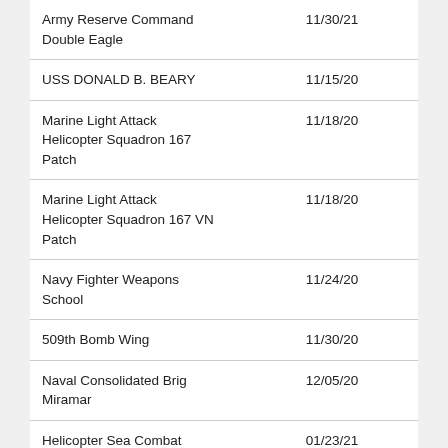| Name | Date |
| --- | --- |
| Army Reserve Command Double Eagle | 11/30/21 |
| USS DONALD B. BEARY | 11/15/20 |
| Marine Light Attack Helicopter Squadron 167 Patch | 11/18/20 |
| Marine Light Attack Helicopter Squadron 167 VN Patch | 11/18/20 |
| Navy Fighter Weapons School | 11/24/20 |
| 509th Bomb Wing | 11/30/20 |
| Naval Consolidated Brig Miramar | 12/05/20 |
| Helicopter Sea Combat Squadron (HSC) 28 | 01/23/21 |
| USS Key West SSN-722 | 02/21/21 |